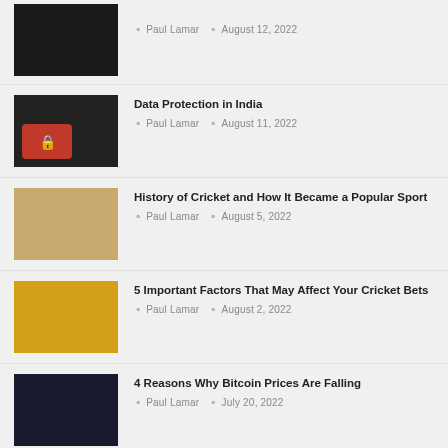Paul Lamar | August 12, 2022
Data Protection in India | Paul Lamar | August 11, 2022
History of Cricket and How It Became a Popular Sport | Paul Lamar | August 5, 2022
5 Important Factors That May Affect Your Cricket Bets | Paul Lamar | August 2, 2022
4 Reasons Why Bitcoin Prices Are Falling | Paul Lamar | July 20, 2022
7 Best Apps to Learn English for Students Studying Abroad | Elisa Jo. | July 20, 2022